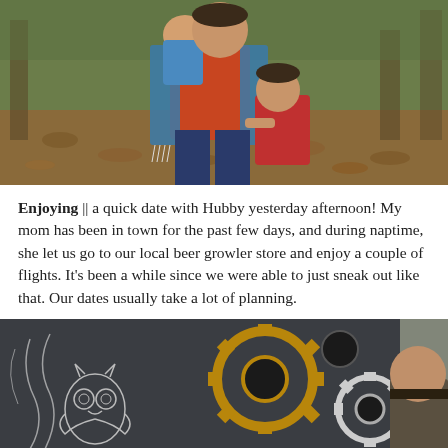[Figure (photo): A woman in an orange top and blue patterned wrap/shawl holds a baby and stands outdoors on a leaf-covered ground. A young girl in a red dress hugs her from the side. Trees are visible in the background.]
Enjoying || a quick date with Hubby yesterday afternoon! My mom has been in town for the past few days, and during naptime, she let us go to our local beer growler store and enjoy a couple of flights. It's been a while since we were able to just sneak out like that. Our dates usually take a lot of planning.
[Figure (photo): Interior of a bar or brewery with dark gray walls decorated with chalk drawings of an owl and swirling designs, and large decorative gear/cog wall hangings in gold and dark colors. A man is seated on the right side of the image near a window.]